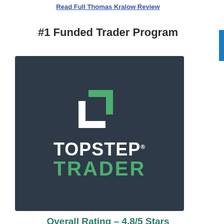Read Full Thomas Kralow Review
#1 Funded Trader Program
[Figure (logo): TopStep Trader logo on dark navy background with green and white chevron icon above the text 'TOPSTEP' in white and 'TRADER' in green]
Overall Rating – 4.8/5 Stars